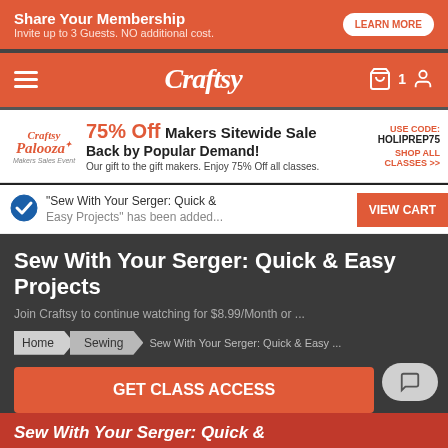[Figure (screenshot): Top orange banner: Share Your Membership - Invite up to 3 Guests. NO additional cost. LEARN MORE button]
[Figure (screenshot): Craftsy navigation bar with hamburger menu, Craftsy logo, cart with 1 item, and user icon]
[Figure (screenshot): Craftsy Palooza Makers Sales Event promo: 75% Off Makers Sitewide Sale Back by Popular Demand! USE CODE: HOLIPREP75 SHOP ALL CLASSES >>]
"Sew With Your Serger: Quick & Easy Projects" has been added...
VIEW CART
Sew With Your Serger: Quick & Easy Projects
Join Craftsy to continue watching for $8.99/Month or ...
Home > Sewing > Sew With Your Serger: Quick & Easy ...
GET CLASS ACCESS
Sew With Your Serger: Quick &